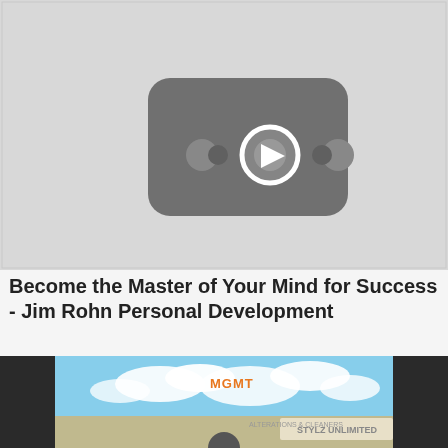[Figure (screenshot): YouTube video thumbnail placeholder showing a grey YouTube play button icon on a light grey background]
Become the Master of Your Mind for Success - Jim Rohn Personal Development
[Figure (screenshot): Video thumbnail showing a sky with clouds, a sign reading 'STYLZ UNLIMITED', orange text reading 'MGMT', and dark sidebars on a partially visible music video frame]